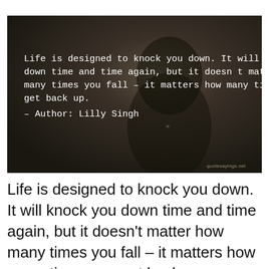[Figure (photo): Dark atmospheric photo of a person's silhouette with overlaid quote text. Background is very dark brown/olive tones. White monospace text reads the Lilly Singh quote. Watermark 'quotesayings.net' in bottom right corner.]
Life is designed to knock you down. It will knock you down time and time again, but it doesn't matter how many times you fall – it matters how many times you get back up.